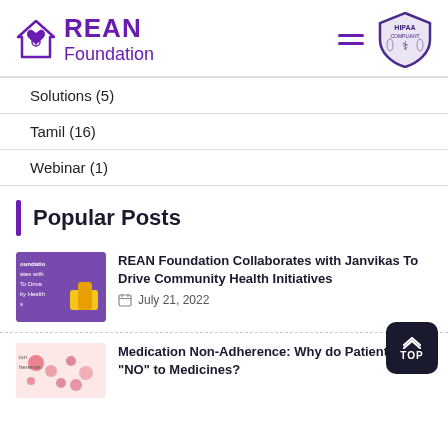[Figure (logo): REAN Foundation logo with house/heart icon and HIPAA Compliant badge]
Solutions (5)
Tamil (16)
Webinar (1)
Popular Posts
[Figure (photo): REAN Foundation Collaborates with Janvikas thumbnail image]
REAN Foundation Collaborates with Janvikas To Drive Community Health Initiatives
July 21, 2022
[Figure (photo): Medication Non-Adherence article thumbnail]
Medication Non-Adherence: Why do Patients Say "NO" to Medicines?